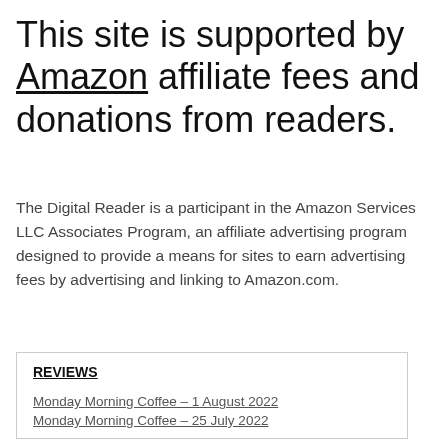This site is supported by Amazon affiliate fees and donations from readers.
The Digital Reader is a participant in the Amazon Services LLC Associates Program, an affiliate advertising program designed to provide a means for sites to earn advertising fees by advertising and linking to Amazon.com.
REVIEWS
Monday Morning Coffee – 1 August 2022
Monday Morning Coffee – 25 July 2022